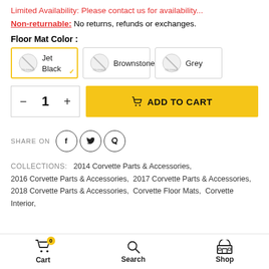Limited Availability: Please contact us for availability...
Non-returnable: No returns, refunds or exchanges.
Floor Mat Color :
Jet Black | Brownstone | Grey (color options)
- 1 + ADD TO CART
SHARE ON (Facebook, Twitter, Pinterest)
COLLECTIONS: 2014 Corvette Parts & Accessories, 2016 Corvette Parts & Accessories, 2017 Corvette Parts & Accessories, 2018 Corvette Parts & Accessories, Corvette Floor Mats, Corvette Interior,
Cart  Search  Shop